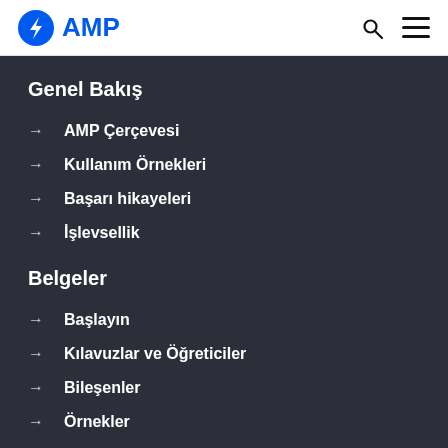AMP
Genel Bakış
AMP Çerçevesi
Kullanım Örnekleri
Başarı hikayeleri
İşlevsellik
Belgeler
Başlayın
Kılavuzlar ve Öğreticiler
Bileşenler
Örnekler
Tasarım Şablonları
Araçlar